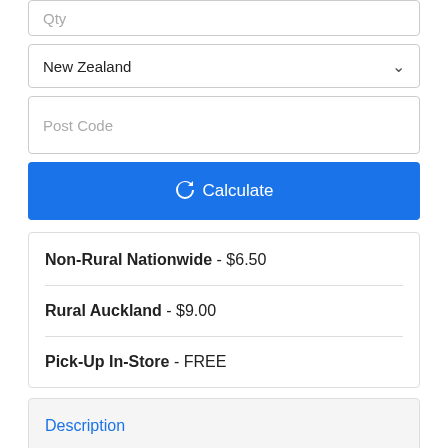[Figure (screenshot): Qty input field (text box, partially visible at top)]
[Figure (screenshot): Country dropdown selector showing 'New Zealand' with chevron]
[Figure (screenshot): Post Code input field]
[Figure (screenshot): Blue Calculate button with refresh icon]
Non-Rural Nationwide - $6.50
Rural Auckland - $9.00
Pick-Up In-Store - FREE
Description
Specifications